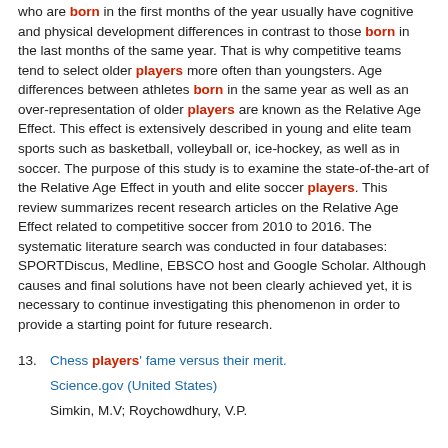who are born in the first months of the year usually have cognitive and physical development differences in contrast to those born in the last months of the same year. That is why competitive teams tend to select older players more often than youngsters. Age differences between athletes born in the same year as well as an over-representation of older players are known as the Relative Age Effect. This effect is extensively described in young and elite team sports such as basketball, volleyball or, ice-hockey, as well as in soccer. The purpose of this study is to examine the state-of-the-art of the Relative Age Effect in youth and elite soccer players. This review summarizes recent research articles on the Relative Age Effect related to competitive soccer from 2010 to 2016. The systematic literature search was conducted in four databases: SPORTDiscus, Medline, EBSCO host and Google Scholar. Although causes and final solutions have not been clearly achieved yet, it is necessary to continue investigating this phenomenon in order to provide a starting point for future research.
13. Chess players' fame versus their merit.
Science.gov (United States)
Simkin, M.V; Roychowdhury, V.P.